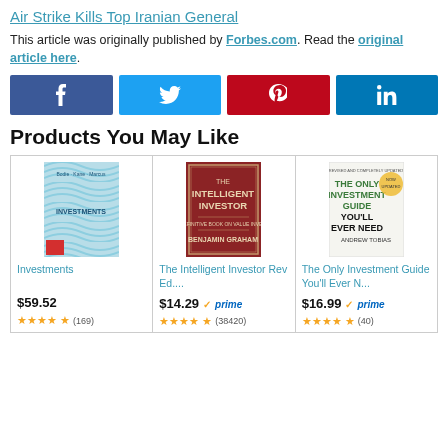Air Strike Kills Top Iranian General
This article was originally published by Forbes.com. Read the original article here.
[Figure (infographic): Social share buttons: Facebook, Twitter, Pinterest, LinkedIn]
Products You May Like
[Figure (illustration): Product grid with three books: Investments ($59.52, 169 reviews), The Intelligent Investor Rev Ed.... ($14.29, prime, 38420 reviews), The Only Investment Guide You'll Ever N... ($16.99, prime, 40 reviews)]